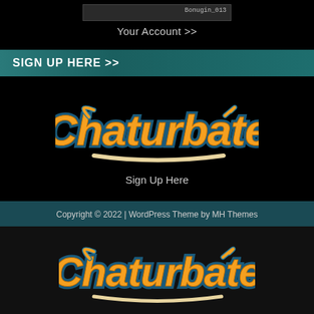[Figure (screenshot): Profile image thumbnail with username 'Bonugin_013' shown in dark overlay]
Your Account >>
SIGN UP HERE >>
[Figure (logo): Chaturbate logo in orange with blue outline and cream underline swash]
Sign Up Here
Copyright © 2022 | WordPress Theme by MH Themes
[Figure (logo): Chaturbate logo in orange with blue outline and cream underline swash (second instance)]
Your Chaturbate Invitation >>